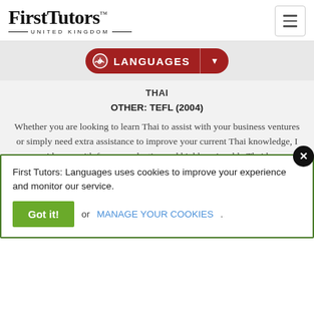[Figure (logo): First Tutors United Kingdom logo with hamburger menu icon]
LANGUAGES
THAI
OTHER: TEFL (2004)
Whether you are looking to learn Thai to assist with your business ventures or simply need extra assistance to improve your current Thai knowledge, I can provide you with focus, productive and highly enjoyable Thai language lessons. I offer flexible opportunities to learn Thai language and improve y...
VIEW THIS TUTOR
First Tutors: Languages uses cookies to improve your experience and monitor our service.
Got it! or MANAGE YOUR COOKIES.